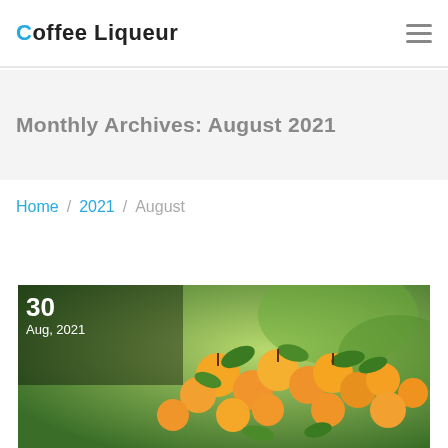Coffee Liqueur
Monthly Archives: August 2021
Home / 2021 / August
[Figure (photo): Close-up photograph of orange/yellow fruit (apricots or similar) on a tree with green leaves. Date overlay shows '30 Aug, 2021' in white text on semi-transparent dark background.]